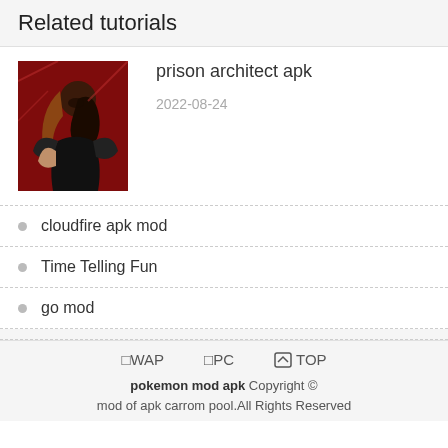Related tutorials
[Figure (photo): Thumbnail image of an anime-style character in a black outfit with a red background, associated with 'prison architect apk' tutorial]
prison architect apk
2022-08-24
cloudfire apk mod
Time Telling Fun
go mod
📱WAP  📱PC  🔼TOP  pokemon mod apk Copyright © mod of apk carrom pool.All Rights Reserved